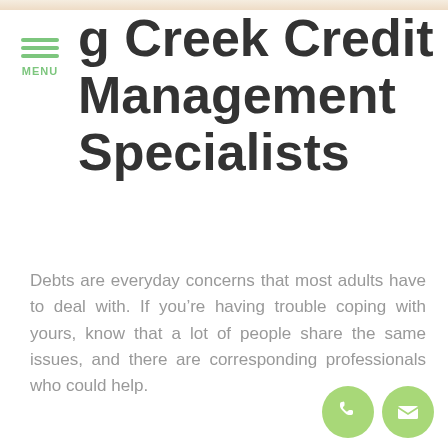g Creek Credit Management Specialists
Debts are everyday concerns that most adults have to deal with. If you’re having trouble coping with yours, know that a lot of people share the same issues, and there are corresponding professionals who could help.
[Figure (illustration): Two circular green icon buttons at the bottom right: a phone/call icon and an envelope/email icon]